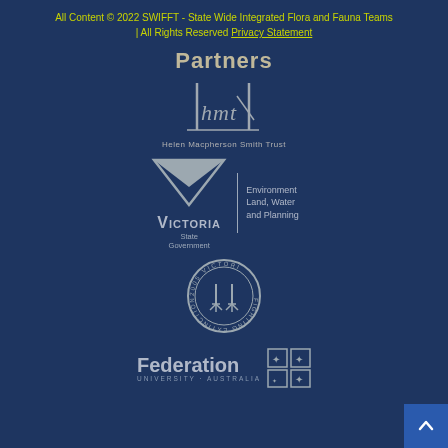All Content © 2022 SWIFFT - State Wide Integrated Flora and Fauna Teams | All Rights Reserved Privacy Statement
Partners
[Figure (logo): Helen Macpherson Smith Trust logo - stylized HMT lettering with vertical bars, text 'Helen Macpherson Smith Trust' below]
[Figure (logo): Victoria State Government - Environment Land, Water and Planning logo with triangle/chevron shape]
[Figure (logo): 2005 Victoria Fighting Extinction circular badge logo with bird feet/talons in center]
[Figure (logo): Federation University Australia logo with text and grid symbol]